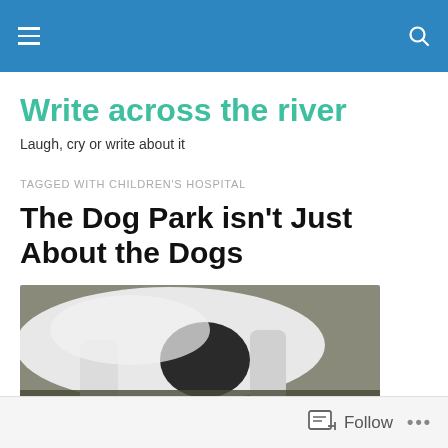Write across the river
Laugh, cry or write about it
TAGGED WITH CHILDREN'S HOSPITAL
The Dog Park isn't Just About the Dogs
[Figure (photo): Photo of a white dog lying on dark ground, legs visible]
Follow